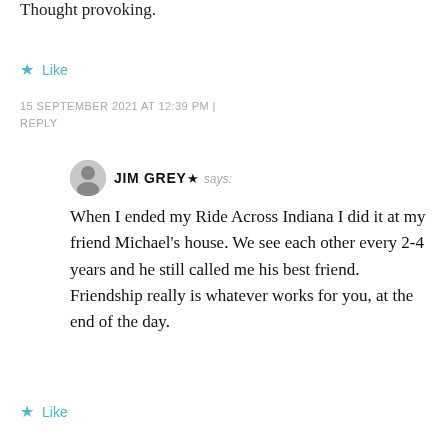Thought provoking.
Like
15 SEPTEMBER 2021 AT 12:39 PM | REPLY
JIM GREY says:
When I ended my Ride Across Indiana I did it at my friend Michael's house. We see each other every 2-4 years and he still called me his best friend. Friendship really is whatever works for you, at the end of the day.
Like